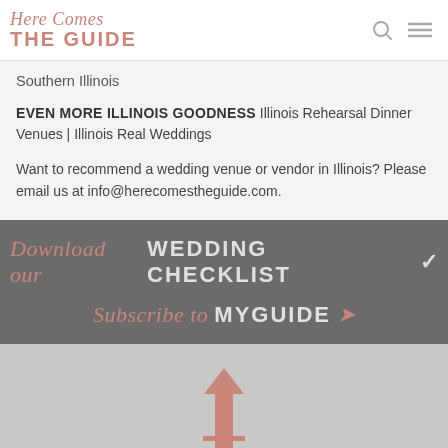Here Comes THE GUIDE
Southern Illinois
EVEN MORE ILLINOIS GOODNESS Illinois Rehearsal Dinner Venues | Illinois Real Weddings
Want to recommend a wedding venue or vendor in Illinois? Please email us at info@herecomestheguide.com.
Download our WEDDING CHECKLIST ✓
Subscribe to MYGUIDE
[Figure (illustration): Pink/coral upward arrow illustration at bottom of page]